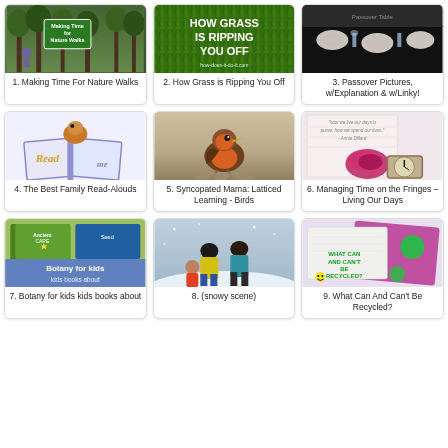[Figure (photo): Forest path with a sign reading 'Making Time for Nature Walks']
1. Making Time For Nature Walks
[Figure (photo): Green grass background with text 'HOW GRASS IS RIPPING YOU OFF']
2. How Grass is Ripping You Off
[Figure (photo): Dark dining table set for Passover with plates and glasses]
3. Passover Pictures, w/Explanation & w/Linky!
[Figure (illustration): Illustrated book cover with a bird reading a book, text says 'Read me']
4. The Best Family Read-Alouds
[Figure (photo): A small robin bird standing on a rock]
5. Syncopated Mama: Latticed Learning - Birds
[Figure (photo): Pink rose, watch, and handwritten text about time]
6. Managing Time on the Fringes – Living Our Days
[Figure (photo): Botany for kids books about plants - colorful book covers]
7. Botany for kids kids books about
[Figure (photo): People walking in snow wearing yellow and green jackets]
8. (snowy scene)
[Figure (photo): Recycling sign asking 'What can and can't be recycled?' with green dots]
9. What Can And Can't Be Recycled?